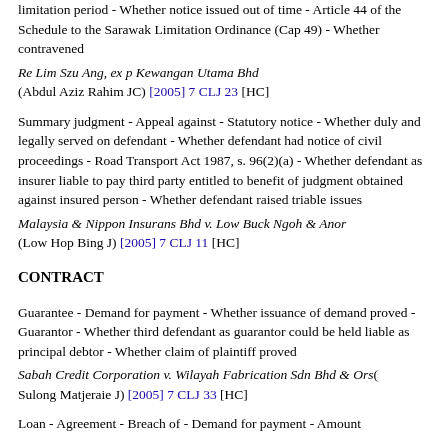limitation period - Whether notice issued out of time - Article 44 of the Schedule to the Sarawak Limitation Ordinance (Cap 49) - Whether contravened
Re Lim Szu Ang, ex p Kewangan Utama Bhd (Abdul Aziz Rahim JC) [2005] 7 CLJ 23 [HC]
Summary judgment - Appeal against - Statutory notice - Whether duly and legally served on defendant - Whether defendant had notice of civil proceedings - Road Transport Act 1987, s. 96(2)(a) - Whether defendant as insurer liable to pay third party entitled to benefit of judgment obtained against insured person - Whether defendant raised triable issues
Malaysia & Nippon Insurans Bhd v. Low Buck Ngoh & Anor (Low Hop Bing J) [2005] 7 CLJ 11 [HC]
CONTRACT
Guarantee - Demand for payment - Whether issuance of demand proved - Guarantor - Whether third defendant as guarantor could be held liable as principal debtor - Whether claim of plaintiff proved
Sabah Credit Corporation v. Wilayah Fabrication Sdn Bhd & Ors( Sulong Matjeraie J) [2005] 7 CLJ 33 [HC]
Loan - Agreement - Breach of - Demand for payment - Amount